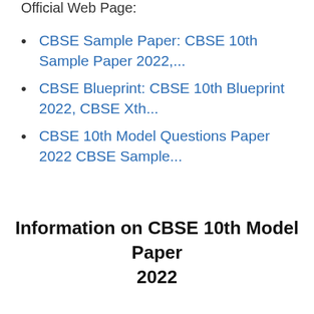Official Web Page:
CBSE Sample Paper: CBSE 10th Sample Paper 2022,...
CBSE Blueprint: CBSE 10th Blueprint 2022, CBSE Xth...
CBSE 10th Model Questions Paper 2022 CBSE Sample...
Information on CBSE 10th Model Paper 2022